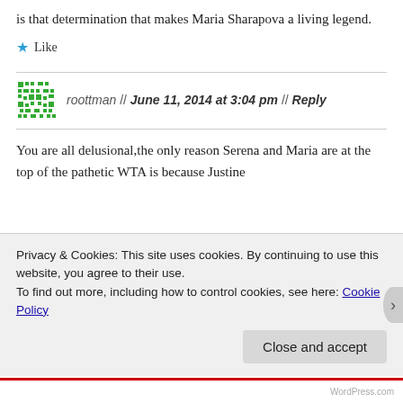is that determination that makes Maria Sharapova a living legend.
★ Like
roottman // June 11, 2014 at 3:04 pm // Reply
You are all delusional,the only reason Serena and Maria are at the top of the pathetic WTA is because Justine
Privacy & Cookies: This site uses cookies. By continuing to use this website, you agree to their use.
To find out more, including how to control cookies, see here: Cookie Policy